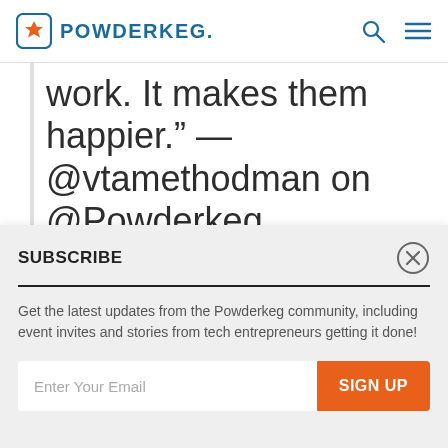POWDERKEG.
work. It makes them happier." — @vtamethodman on @Powderkeg...
SUBSCRIBE
Get the latest updates from the Powderkeg community, including event invites and stories from tech entrepreneurs getting it done!
Enter Your Email | SIGN UP